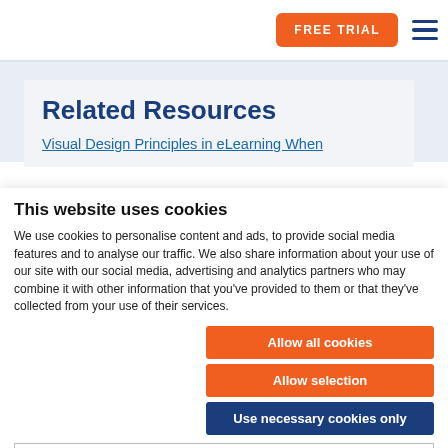FREE TRIAL
Related Resources
Visual Design Principles in eLearning When
This website uses cookies
We use cookies to personalise content and ads, to provide social media features and to analyse our traffic. We also share information about your use of our site with our social media, advertising and analytics partners who may combine it with other information that you've provided to them or that they've collected from your use of their services.
Allow all cookies
Allow selection
Use necessary cookies only
Necessary  Preferences  Statistics  Marketing  Show details